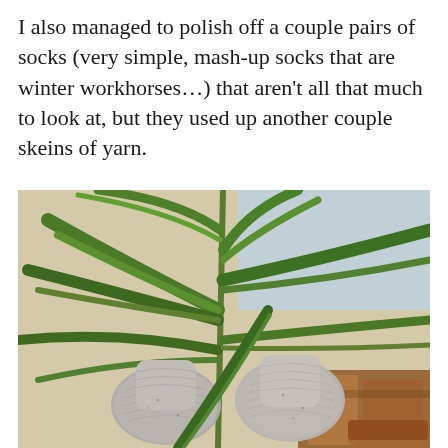I also managed to polish off a couple pairs of socks (very simple, mash-up socks that are winter workhorses...) that aren't all that much to look at, but they used up another couple skeins of yarn.
[Figure (photo): Two feet wearing hand-knitted grey/heathered socks held up in front of a large green palm-like houseplant, with a window and wooden furniture visible in the background.]